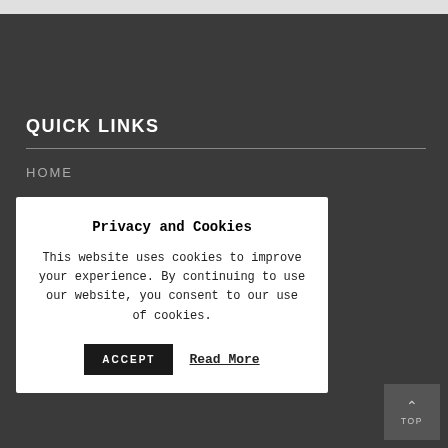QUICK LINKS
HOME
Privacy and Cookies
This website uses cookies to improve your experience. By continuing to use our website, you consent to our use of cookies.
ACCEPT   Read More
TOP